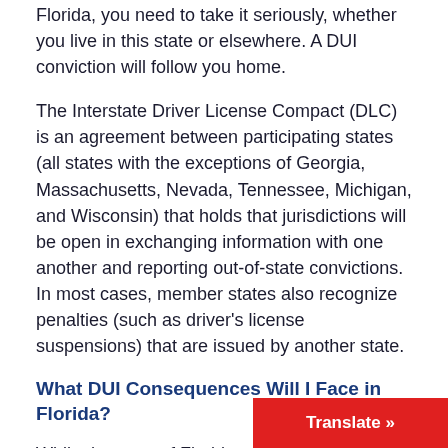Florida, you need to take it seriously, whether you live in this state or elsewhere. A DUI conviction will follow you home.
The Interstate Driver License Compact (DLC) is an agreement between participating states (all states with the exceptions of Georgia, Massachusetts, Nevada, Tennessee, Michigan, and Wisconsin) that holds that jurisdictions will be open in exchanging information with one another and reporting out-of-state convictions. In most cases, member states also recognize penalties (such as driver's license suspensions) that are issued by another state.
What DUI Consequences Will I Face in Florida?
While the state of Florida may not have the right to suspend your actual license, you m...